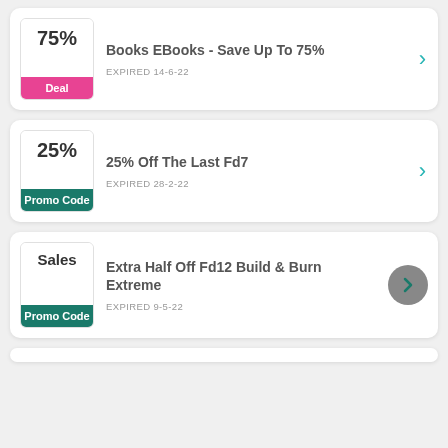Books EBooks - Save Up To 75% | EXPIRED 14-6-22 | Deal
25% Off The Last Fd7 | EXPIRED 28-2-22 | Promo Code
Extra Half Off Fd12 Build & Burn Extreme | EXPIRED 9-5-22 | Promo Code